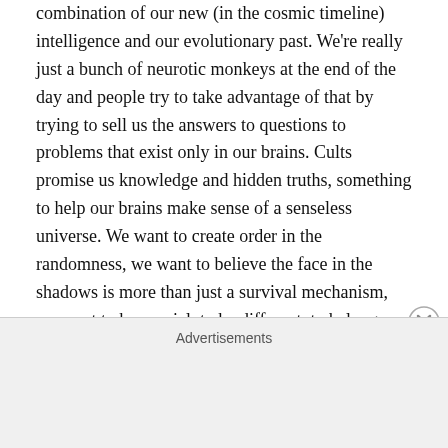combination of our new (in the cosmic timeline) intelligence and our evolutionary past. We're really just a bunch of neurotic monkeys at the end of the day and people try to take advantage of that by trying to sell us the answers to questions to problems that exist only in our brains. Cults promise us knowledge and hidden truths, something to help our brains make sense of a senseless universe. We want to create order in the randomness, we want to believe the face in the shadows is more than just a survival mechanism, we want to be special, to be different, to belong.
At the heart of it we're just lonely. It's ironic that the internet has let us be more connected than ever. You and I
Advertisements